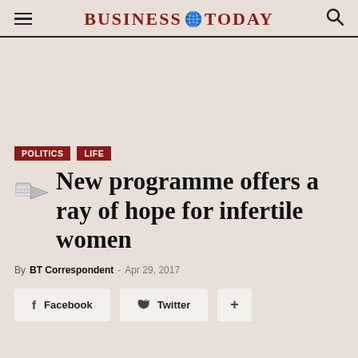BUSINESS TODAY
[Figure (other): Advertisement/blank area]
Politics  LIFE
New programme offers a ray of hope for infertile women
By BT Correspondent - Apr 29, 2017
Facebook  Twitter  +